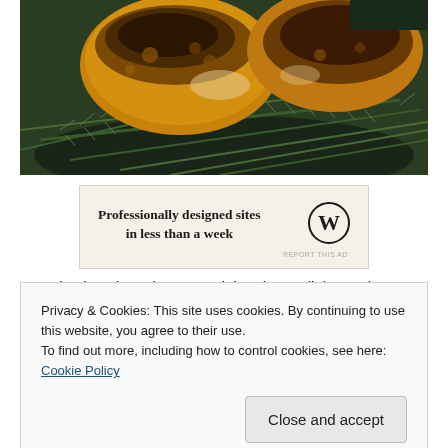[Figure (photo): Close-up photo of roasted/grilled chicken pieces on a bed of fresh rosemary sprigs on a dark plate]
[Figure (infographic): WordPress advertisement banner: 'Professionally designed sites in less than a week' with WordPress logo]
Privacy & Cookies: This site uses cookies. By continuing to use this website, you agree to their use.
To find out more, including how to control cookies, see here: Cookie Policy
the chicken to get done!